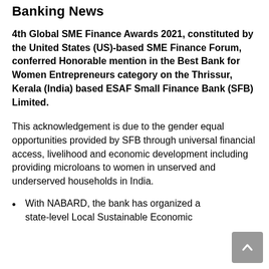Banking News
4th Global SME Finance Awards 2021, constituted by the United States (US)-based SME Finance Forum, conferred Honorable mention in the Best Bank for Women Entrepreneurs category on the Thrissur, Kerala (India) based ESAF Small Finance Bank (SFB) Limited.
This acknowledgement is due to the gender equal opportunities provided by SFB through universal financial access, livelihood and economic development including providing microloans to women in unserved and underserved households in India.
With NABARD, the bank has organized a state-level Local Sustainable Economic